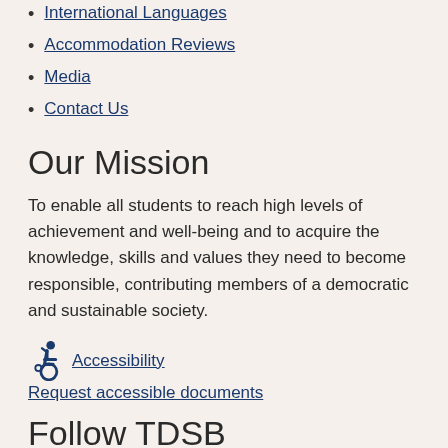International Languages
Accommodation Reviews
Media
Contact Us
Our Mission
To enable all students to reach high levels of achievement and well-being and to acquire the knowledge, skills and values they need to become responsible, contributing members of a democratic and sustainable society.
Accessibility
Request accessible documents
Follow TDSB
[Figure (illustration): Social media icons: Facebook, YouTube, Twitter, Instagram]